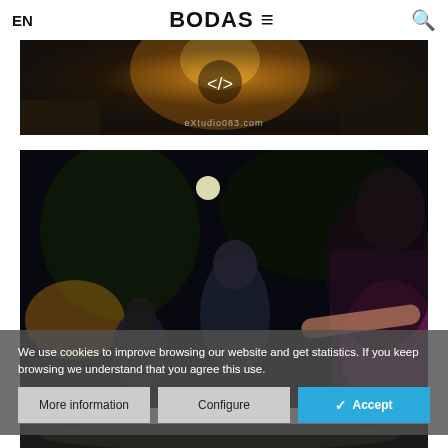EN  BODAS ≡  🔍
[Figure (photo): Wedding party photo with colorful stage lighting, a person on a stage, share icon overlay, and text 'eXtudio083.com' watermark]
[Figure (photo): Nighttime outdoor wedding party scene with people dancing, man in foreground, woman with red lipstick in the top right, dark background with trees and a moon]
We use cookies to improve browsing our website and get statistics. If you keep browsing we understand that you agree this use.
More information  Configure  ✓ Accept
[Figure (photo): Partial view of another wedding photo at the bottom of the page]